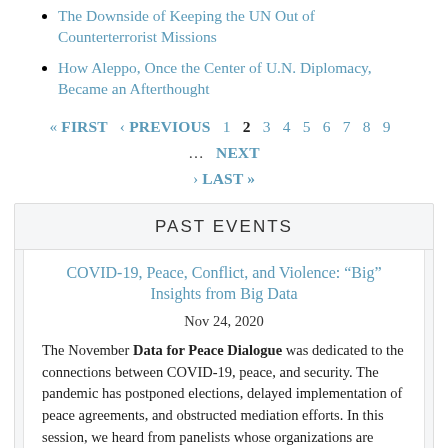The Downside of Keeping the UN Out of Counterterrorist Missions
How Aleppo, Once the Center of U.N. Diplomacy, Became an Afterthought
« FIRST  ‹ PREVIOUS  1  2  3  4  5  6  7  8  9  …  NEXT  › LAST »
PAST EVENTS
COVID-19, Peace, Conflict, and Violence: “Big” Insights from Big Data
Nov 24, 2020
The November Data for Peace Dialogue was dedicated to the connections between COVID-19, peace, and security. The pandemic has postponed elections, delayed implementation of peace agreements, and obstructed mediation efforts. In this session, we heard from panelists whose organizations are leveraging the power of data to